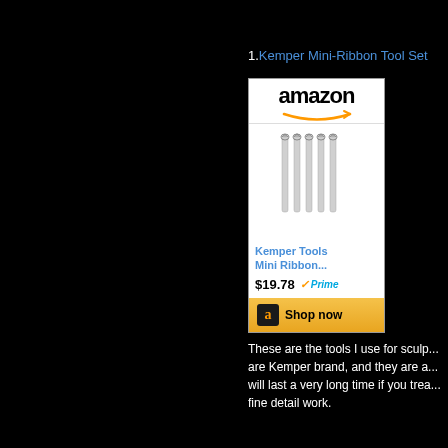1. Kemper Mini-Ribbon Tool Set
[Figure (screenshot): Amazon product widget showing Kemper Tools Mini Ribbon tool set for $19.78 with Prime badge and Shop now button]
These are the tools I use for sculp... are Kemper brand, and they are a... will last a very long time if you trea... fine detail work.